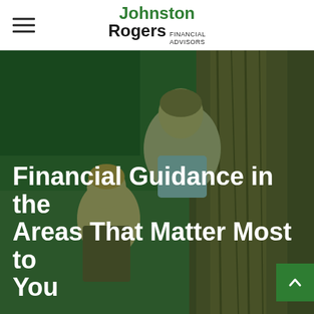Johnston Rogers Financial Advisors — navigation header with hamburger menu and logo
[Figure (photo): Two people (adult and child) viewed from behind, looking up at a large tree in a green outdoor setting. The image has a green tint overlay. At the bottom, large white bold text reads: 'Financial Guidance in the Areas That Matter Most to You'. A green button with an up-arrow chevron appears bottom-right.]
Financial Guidance in the Areas That Matter Most to You